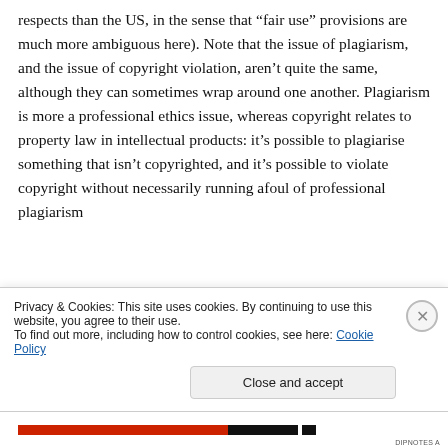respects than the US, in the sense that “fair use” provisions are much more ambiguous here). Note that the issue of plagiarism, and the issue of copyright violation, aren’t quite the same, although they can sometimes wrap around one another. Plagiarism is more a professional ethics issue, whereas copyright relates to property law in intellectual products: it’s possible to plagiarise something that isn’t copyrighted, and it’s possible to violate copyright without necessarily running afoul of professional plagiarism
Privacy & Cookies: This site uses cookies. By continuing to use this website, you agree to their use.
To find out more, including how to control cookies, see here: Cookie Policy
Close and accept